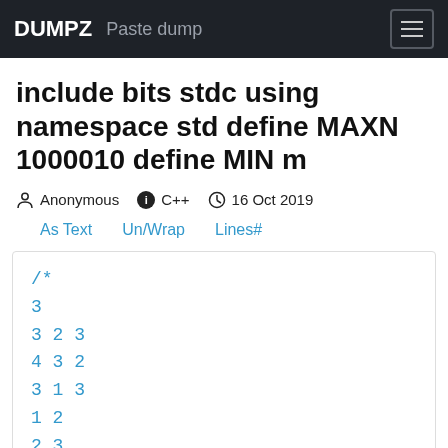DUMPZ  Paste dump
include bits stdc using namespace std define MAXN 1000010 define MIN m
Anonymous  C++  16 Oct 2019
As Text   Un/Wrap   Lines#
/*
3
3 2 3
4 3 2
3 1 3
1 2
2 3

6